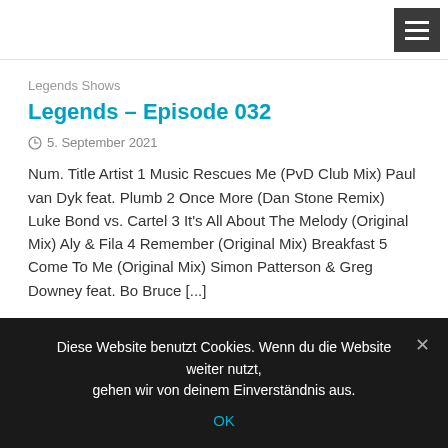Legends Shows
Legends – Episode 032
5. September 2021
Num. Title Artist 1 Music Rescues Me (PvD Club Mix) Paul van Dyk feat. Plumb 2 Once More (Dan Stone Remix) Luke Bond vs. Cartel 3 It's All About The Melody (Original Mix) Aly & Fila 4 Remember (Original Mix) Breakfast 5 Come To Me (Original Mix) Simon Patterson & Greg Downey feat. Bo Bruce [...]
READ MORE
Diese Website benutzt Cookies. Wenn du die Website weiter nutzt, gehen wir von deinem Einverständnis aus.
OK